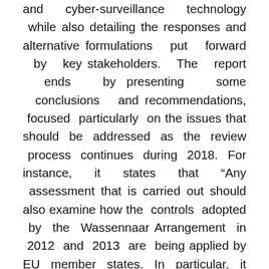and cyber-surveillance technology while also detailing the responses and alternative formulations put forward by key stakeholders. The report ends by presenting some conclusions and recommendations, focused particularly on the issues that should be addressed as the review process continues during 2018. For instance, it states that “Any assessment that is carried out should also examine how the controls adopted by the Wassennaar Arrangement in 2012 and 2013 are being applied by EU member states. In particular, it would be useful to assess how EU member states are assessing exports of cyber-surveillance technologies that have